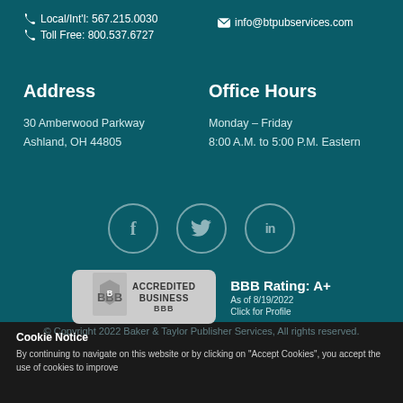Local/Int'l: 567.215.0030
Toll Free: 800.537.6727
info@btpubservices.com
Address
30 Amberwood Parkway
Ashland, OH 44805
Office Hours
Monday – Friday
8:00 A.M. to 5:00 P.M. Eastern
[Figure (infographic): Social media icons: Facebook, Twitter, LinkedIn in circular outlines]
[Figure (logo): BBB Accredited Business badge with rating A+, as of 8/19/2022, Click for Profile]
Cookie Notice
By continuing to navigate on this website or by clicking on "Accept Cookies", you accept the use of cookies to improve
© Copyright 2022 Baker & Taylor Publisher Services, All rights reserved.